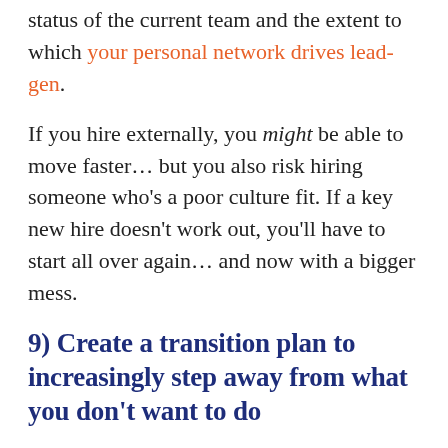status of the current team and the extent to which your personal network drives lead-gen.
If you hire externally, you might be able to move faster… but you also risk hiring someone who's a poor culture fit. If a key new hire doesn't work out, you'll have to start all over again… and now with a bigger mess.
9) Create a transition plan to increasingly step away from what you don't want to do